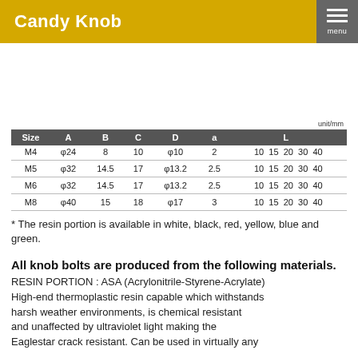Candy Knob
unit/mm
| Size | A | B | C | D | a | L |
| --- | --- | --- | --- | --- | --- | --- |
| M4 | φ24 | 8 | 10 | φ10 | 2 | 10  15  20  30  40 |
| M5 | φ32 | 14.5 | 17 | φ13.2 | 2.5 | 10  15  20  30  40 |
| M6 | φ32 | 14.5 | 17 | φ13.2 | 2.5 | 10  15  20  30  40 |
| M8 | φ40 | 15 | 18 | φ17 | 3 | 10  15  20  30  40 |
* The resin portion is available in white, black, red, yellow, blue and green.
All knob bolts are produced from the following materials.
RESIN PORTION : ASA (Acrylonitrile-Styrene-Acrylate) High-end thermoplastic resin capable which withstands harsh weather environments, is chemical resistant and unaffected by ultraviolet light making the Eaglestar crack resistant. Can be used in virtually any